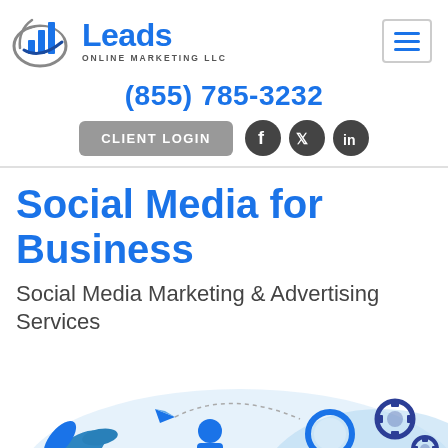[Figure (logo): Leads Online Marketing LLC logo with bar chart icon and crescent arc]
(855) 785-3232
CLIENT LOGIN
[Figure (illustration): Social media marketing illustration with person, paper airplane, magnifying glass, gears, and light blue shapes]
Social Media for Business
Social Media Marketing & Advertising Services